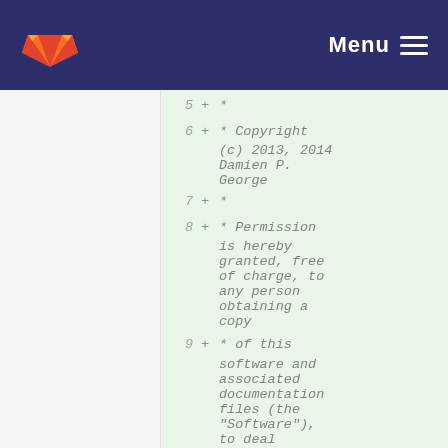GitLab Menu
5  +  *
6  +  * Copyright (c) 2013, 2014 Damien P. George
7  +  *
8  +  * Permission is hereby granted, free of charge, to any person obtaining a copy
9  +  * of this software and associated documentation files (the "Software"), to deal